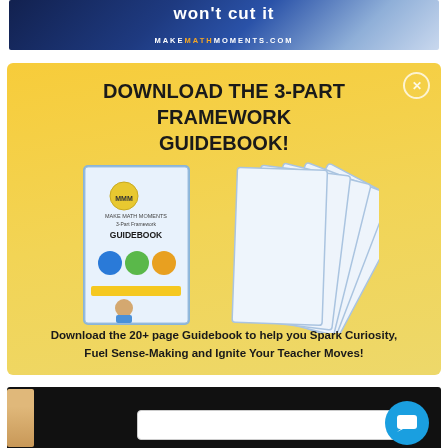[Figure (illustration): Top banner ad for MakeMathMoments.com with text 'Won't Cut It' and website URL, dark blue background with person in plaid shirt]
[Figure (illustration): Yellow promotional card with heading 'DOWNLOAD THE 3-PART FRAMEWORK GUIDEBOOK!' and fan of guidebook pages, with subtitle about 20+ page Guidebook to Spark Curiosity, Fuel Sense-Making and Ignite Your Teacher Moves!]
DOWNLOAD THE 3-PART FRAMEWORK GUIDEBOOK!
Download the 20+ page Guidebook to help you Spark Curiosity, Fuel Sense-Making and Ignite Your Teacher Moves!
[Figure (screenshot): Bottom dark section showing beginning of video or form with chat bubble icon and small avatar thumbnail]